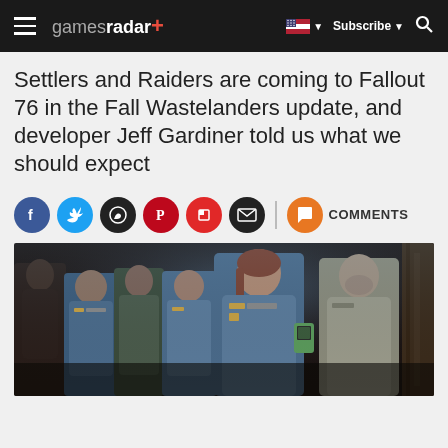gamesradar+
Settlers and Raiders are coming to Fallout 76 in the Fall Wastelanders update, and developer Jeff Gardiner told us what we should expect
[Figure (other): Social sharing icons row: Facebook, Twitter, WhatsApp, Pinterest, Flipboard, Email, Comments button]
[Figure (photo): Fallout 76 Wastelanders screenshot showing multiple characters in vault suits standing in a group inside a building]